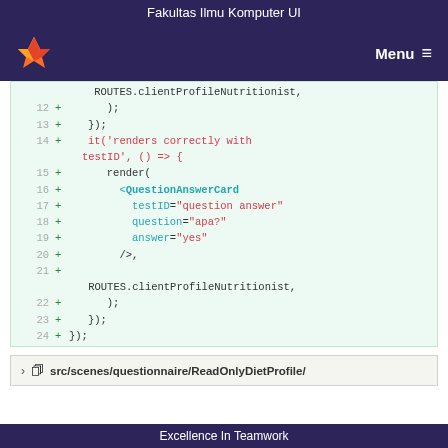Fakultas Ilmu Komputer UI
[Figure (screenshot): GitLab navigation bar with fox logo and Menu button]
Code diff showing lines 12-24 with ROUTES.clientProfileNutritionist, QuestionAnswerCard component with testID, question, and answer props
src/scenes/questionnaire/ReadOnlyDietProfile/
Excellence In Teamwork